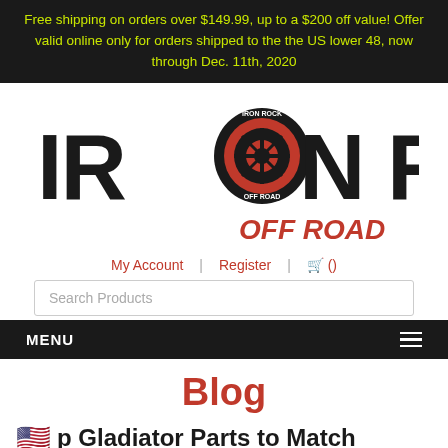Free shipping on orders over $149.99, up to a $200 off value! Offer valid online only for orders shipped to the the US lower 48, now through Dec. 11th, 2020
[Figure (logo): Iron Rock Off Road logo — large bold stylized text 'IRON ROCK' with a tire/wheel replacing the O, and 'OFF ROAD' below in italic red text]
My Account | Register | 🛒 ()
Search Products
MENU ≡
Blog
🇺🇸 p Gladiator Parts to Match